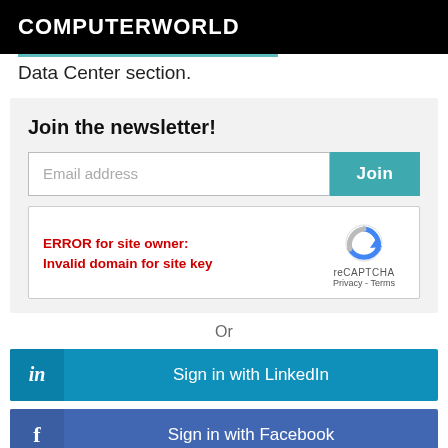COMPUTERWORLD
Data Center section.
Join the newsletter!
ERROR for site owner: Invalid domain for site key
Or
Sign in with LinkedIn
Sign in with Facebook